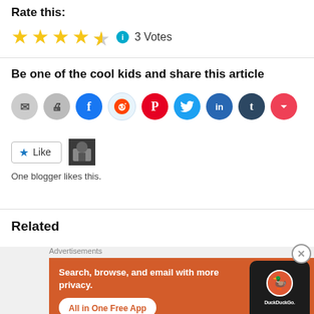Rate this:
[Figure (other): 4.5 star rating with info icon and '3 Votes' text]
Be one of the cool kids and share this article
[Figure (other): Row of social share buttons: email, print, Facebook, Reddit, Pinterest, Twitter, LinkedIn, Tumblr, Pocket]
[Figure (other): WordPress Like button with star icon and blogger avatar thumbnail]
One blogger likes this.
Related
Advertisements
[Figure (other): DuckDuckGo advertisement banner: Search, browse, and email with more privacy. All in One Free App. Shows phone with DuckDuckGo logo.]